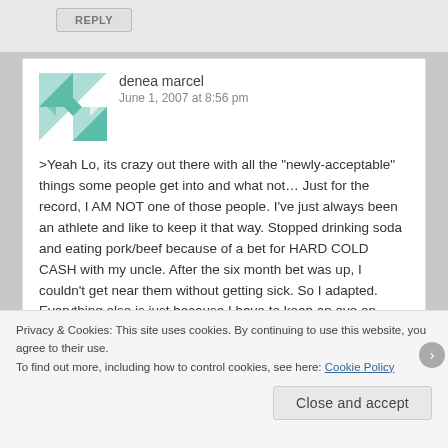REPLY
denea marcel
June 1, 2007 at 8:56 pm
>Yeah Lo, its crazy out there with all the "newly-acceptable" things some people get into and what not... Just for the record, I AM NOT one of those people. I've just always been an athlete and like to keep it that way. Stopped drinking soda and eating pork/beef because of a bet for HARD COLD CASH with my uncle. After the six month bet was up, I couldn't get near them without getting sick. So I adapted. Everything else is just because I have to keep an eye on family health issues, like
Privacy & Cookies: This site uses cookies. By continuing to use this website, you agree to their use.
To find out more, including how to control cookies, see here: Cookie Policy
Close and accept